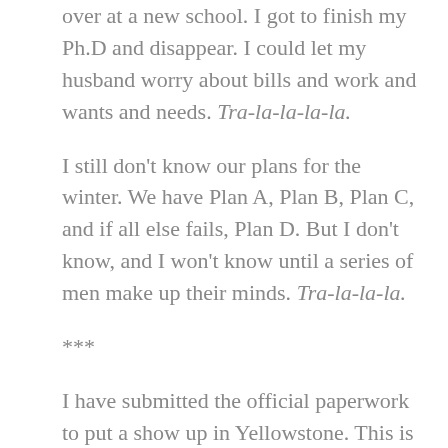over at a new school. I got to finish my Ph.D and disappear. I could let my husband worry about bills and work and wants and needs. Tra-la-la-la-la.
I still don't know our plans for the winter. We have Plan A, Plan B, Plan C, and if all else fails, Plan D. But I don't know, and I won't know until a series of men make up their minds. Tra-la-la-la.
***
I have submitted the official paperwork to put a show up in Yellowstone. This is the same paperwork the Jehovah's Witnesses submit to handout pamphlets or couples submit to put on weddings: Application for Special Use Permit, NPS form 10-930. If approved, I will perform a staged reading of my script on September